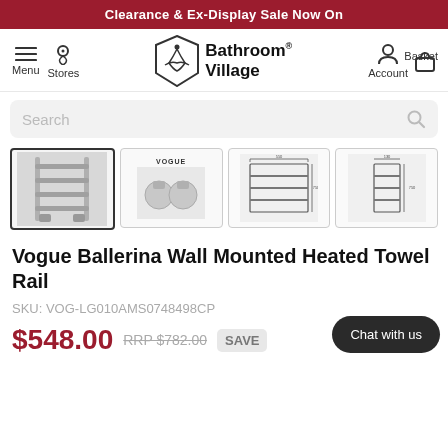Clearance & Ex-Display Sale Now On
[Figure (logo): Bathroom Village logo with shield icon containing water drop and wave]
[Figure (screenshot): Four product thumbnail images of Vogue Ballerina Wall Mounted Heated Towel Rail: photo, valve detail, front schematic, side schematic]
Vogue Ballerina Wall Mounted Heated Towel Rail
SKU: VOG-LG010AMS0748498CP
$548.00 RRP $782.00 SAVE